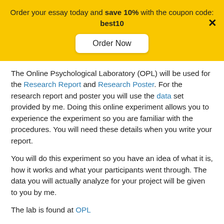Order your essay today and save 10% with the coupon code: best10
Order Now
The Online Psychological Laboratory (OPL) will be used for the Research Report and Research Poster. For the research report and poster you will use the data set provided by me. Doing this online experiment allows you to experience the experiment so you are familiar with the procedures. You will need these details when you write your report.
You will do this experiment so you have an idea of what it is, how it works and what your participants went through. The data you will actually analyze for your project will be given to you by me.
The lab is found at OPL
Use class ID 6341